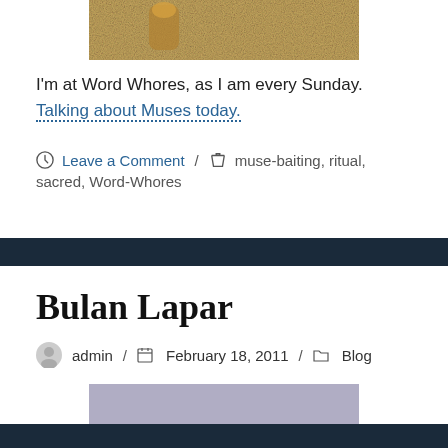[Figure (photo): Partial photo of a decorative object on a sandy/textured background, cropped at top]
I'm at Word Whores, as I am every Sunday. Talking about Muses today.
Leave a Comment / muse-baiting, ritual, sacred, Word-Whores
Bulan Lapar
admin / February 18, 2011 / Blog
[Figure (photo): Partial view of a muted blue-grey image, cropped at bottom]